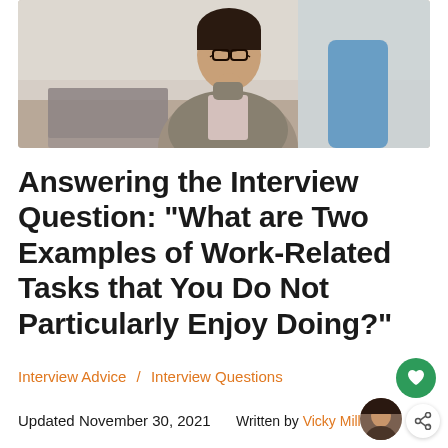[Figure (photo): A woman in a business suit sitting at a desk, wearing glasses, resting her chin on her hand in a thoughtful or bored pose, with a laptop in front of her and a blue chair visible behind her.]
Answering the Interview Question: "What are Two Examples of Work-Related Tasks that You Do Not Particularly Enjoy Doing?"
Interview Advice / Interview Questions
Updated November 30, 2021   Written by Vicky Miller